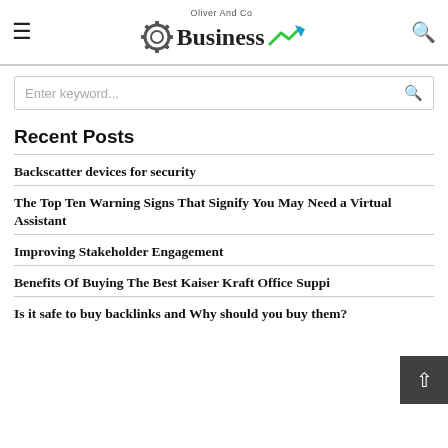Oliver And Co Business [logo with gear and arrow]
Enter keyword...
Recent Posts
Backscatter devices for security
The Top Ten Warning Signs That Signify You May Need a Virtual Assistant
Improving Stakeholder Engagement
Benefits Of Buying The Best Kaiser Kraft Office Suppi...
Is it safe to buy backlinks and Why should you buy them?